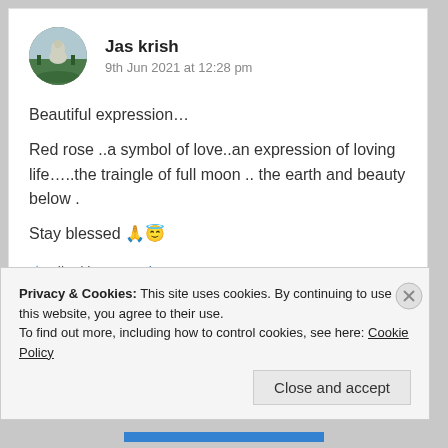[Figure (photo): Circular avatar photo of Jas krish showing a Buddha statue outdoors]
Jas krish
9th Jun 2021 at 12:28 pm
Beautiful expression…
Red rose ..a symbol of love..an expression of loving life…..the traingle of full moon .. the earth and beauty below .
Stay blessed 🙏😇
★ Liked by 3 people
Privacy & Cookies: This site uses cookies. By continuing to use this website, you agree to their use.
To find out more, including how to control cookies, see here: Cookie Policy
Close and accept